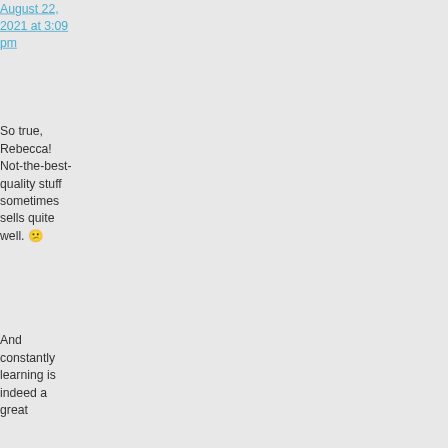[Figure (photo): Circular avatar photo of a person, positioned at top right area]
Dave Astor on August 22, 2021 at 3:09 pm
So true, Rebecca! Not-the-best-quality stuff sometimes sells quite well. 😕
And constantly learning is indeed a great